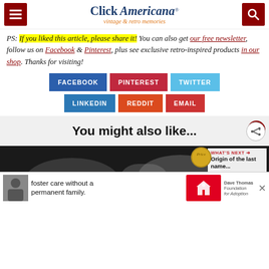Click Americana - vintage & retro memories
PS: If you liked this article, please share it! You can also get our free newsletter, follow us on Facebook & Pinterest, plus see exclusive retro-inspired products in our shop. Thanks for visiting!
[Figure (infographic): Social share buttons: FACEBOOK, PINTEREST, TWITTER, LINKEDIN, REDDIT, EMAIL]
You might also like...
[Figure (photo): Photo of telephone handsets with 'WHAT'S NEXT → Origin of the last name...' overlay and advertisement bar for foster care without a permanent family - Dave Thomas Foundation for Adoption]